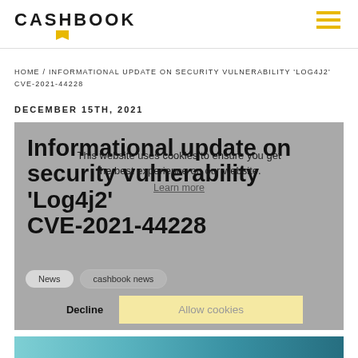CASHBOOK
HOME / INFORMATIONAL UPDATE ON SECURITY VULNERABILITY 'LOG4J2' CVE-2021-44228
DECEMBER 15TH, 2021
Informational update on security vulnerability 'Log4j2' CVE-2021-44228
This website uses cookies to ensure you get the best experience on our website. Learn more
News   cashbook news
Decline   Allow cookies